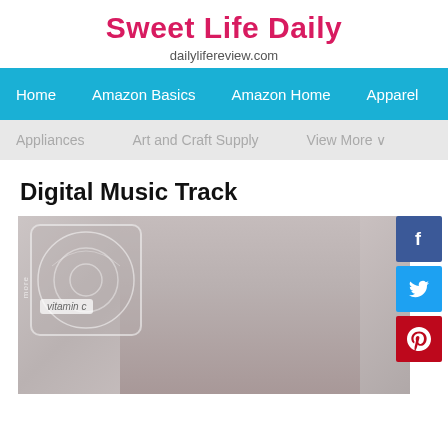Sweet Life Daily
dailylifereview.com
Home   Amazon Basics   Amazon Home   Apparel
Appliances   Art and Craft Supply   View More v
Digital Music Track
[Figure (photo): Article image showing a person with blonde hair and album art overlay for 'vitamin c', with social media share buttons (Facebook, Twitter, Pinterest) on the right side]